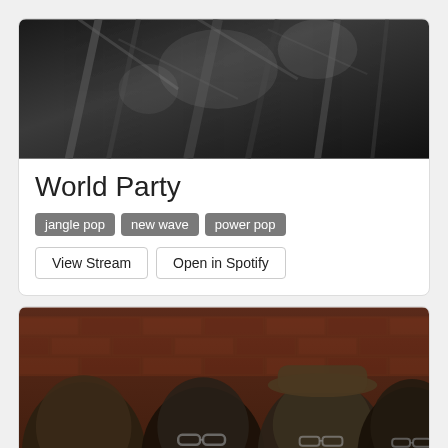[Figure (photo): Black and white photo, dark forest or nature scene, appears moody and high-contrast]
World Party
jangle pop
new wave
power pop
View Stream   Open in Spotify
[Figure (photo): Photo of four men posing in front of a brick wall, band promotional photo]